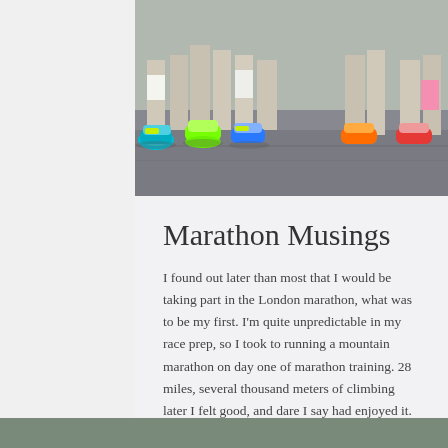[Figure (photo): Photo of runners' feet and legs wearing colorful running shoes during a marathon race on pavement]
Marathon Musings
I found out later than most that I would be taking part in the London marathon, what was to be my first. I'm quite unpredictable in my race prep, so I took to running a mountain marathon on day one of marathon training. 28 miles, several thousand meters of climbing later I felt good, and dare I say had enjoyed it. By trade I'm an obstacle racer, I took up running only April of last year, and I hated it. Obstacle racing was my passion to start with, it appeared to my strengt